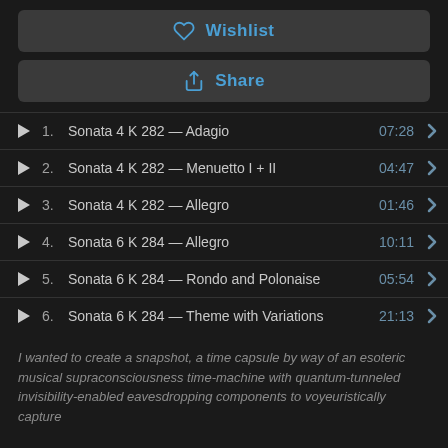[Figure (screenshot): Wishlist button with heart icon]
[Figure (screenshot): Share button with share icon]
1. Sonata 4 K 282 — Adagio  07:28
2. Sonata 4 K 282 — Menuetto I + II  04:47
3. Sonata 4 K 282 — Allegro  01:46
4. Sonata 6 K 284 — Allegro  10:11
5. Sonata 6 K 284 — Rondo and Polonaise  05:54
6. Sonata 6 K 284 — Theme with Variations  21:13
I wanted to create a snapshot, a time capsule by way of an esoteric musical supraconsciousness time-machine with quantum-tunneled invisibility-enabled eavesdropping components to voyeuristically capture